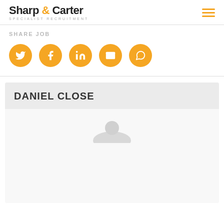Sharp & Carter SPECIALIST RECRUITMENT
SHARE JOB
[Figure (infographic): Five orange circular social media share buttons: Twitter, Facebook, LinkedIn, Email, WhatsApp]
DANIEL CLOSE
[Figure (photo): Profile photo area showing partial silhouette/top of head on light grey background]